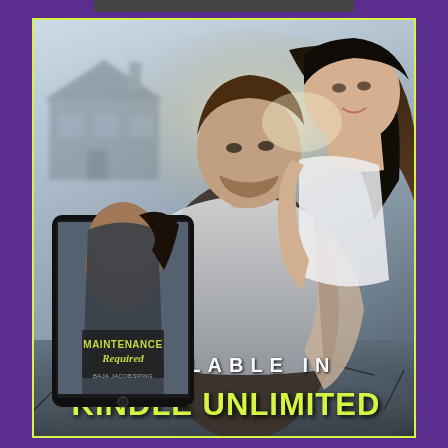[Figure (illustration): Book promotional advertisement for 'Maintenance Required' by Baja Jacobsring. Shows a romantic couple about to kiss against a misty background with a house silhouette. A tablet displaying the book cover is shown in the lower left. Text reads 'AVAILABLE IN KINDLE UNLIMITED'. Yellow-green border around image on purple background.]